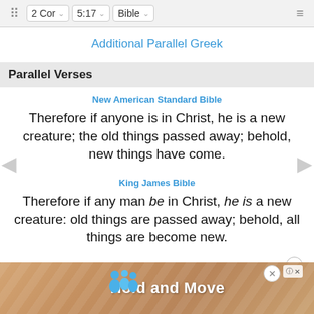2 Cor | 5:17 | Bible
Additional Parallel Greek
Parallel Verses
New American Standard Bible
Therefore if anyone is in Christ, he is a new creature; the old things passed away; behold, new things have come.
King James Bible
Therefore if any man be in Christ, he is a new creature: old things are passed away; behold, all things are become new.
Holman Christian Standard Bible
Therefore if anyone is in Christ, he is a new creature...
[Figure (screenshot): Ad overlay at bottom showing 'Hold and Move' with figures icon and close/help buttons]